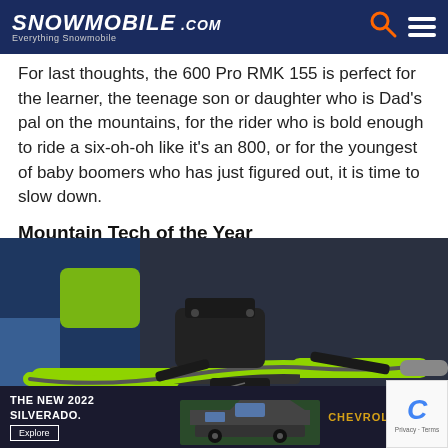SNOWMOBILE Everything Snowmobile .COM
For last thoughts, the 600 Pro RMK 155 is perfect for the learner, the teenage son or daughter who is Dad's pal on the mountains, for the rider who is bold enough to ride a six-oh-oh like it's an 800, or for the youngest of baby boomers who has just figured out, it is time to slow down.
Mountain Tech of the Year
[Figure (photo): Close-up photo of a snowmobile handlebar with bright green grips, black brake lever assembly, and a SHOT-branded thumb throttle in orange and black. Background shows blue and green snowmobile body panels.]
THE NEW 2022 SILVERADO. Explore | CHEVROLET